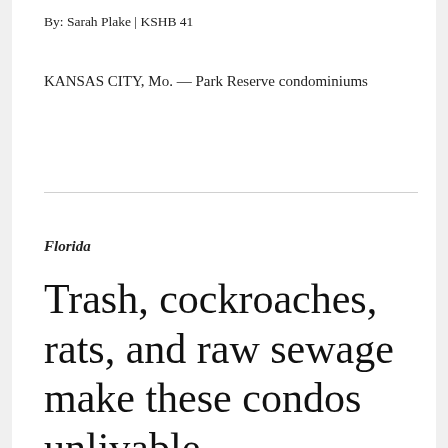By: Sarah Plake | KSHB 41
KANSAS CITY, Mo. — Park Reserve condominiums
Florida
Trash, cockroaches, rats, and raw sewage make these condos unlivable